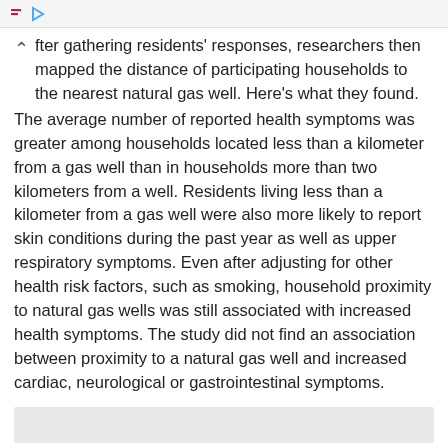fter gathering residents' responses, researchers then mapped the distance of participating households to the nearest natural gas well. Here's what they found.
The average number of reported health symptoms was greater among households located less than a kilometer from a gas well than in households more than two kilometers from a well. Residents living less than a kilometer from a gas well were also more likely to report skin conditions during the past year as well as upper respiratory symptoms. Even after adjusting for other health risk factors, such as smoking, household proximity to natural gas wells was still associated with increased health symptoms. The study did not find an association between proximity to a natural gas well and increased cardiac, neurological or gastrointestinal symptoms.
[Figure (other): Gray placeholder box, likely an advertisement or image placeholder]
While the study did not undercover the exact causes of residents' health symptoms, researchers hypothesized a number of possible contributors, such as exposure to certain chemicals via contaminated ground water, fracking-related air pollutants, and increased stress and anxiety associated with living closer to